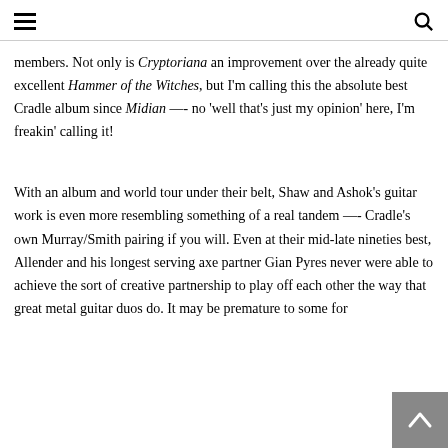[hamburger menu icon] [search icon]
members. Not only is Cryptoriana an improvement over the already quite excellent Hammer of the Witches, but I'm calling this the absolute best Cradle album since Midian —- no 'well that's just my opinion' here, I'm freakin' calling it!
With an album and world tour under their belt, Shaw and Ashok's guitar work is even more resembling something of a real tandem —- Cradle's own Murray/Smith pairing if you will. Even at their mid-late nineties best, Allender and his longest serving axe partner Gian Pyres never were able to achieve the sort of creative partnership to play off each other the way that great metal guitar duos do. It may be premature to some for